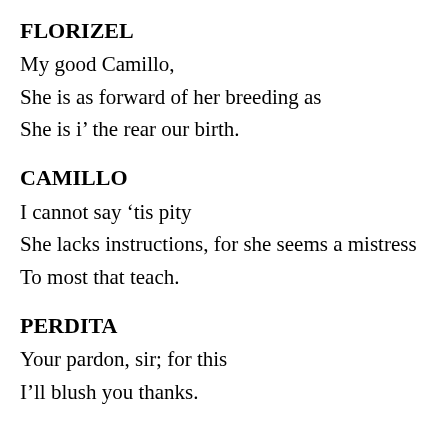FLORIZEL
My good Camillo,
She is as forward of her breeding as
She is i' the rear our birth.
CAMILLO
I cannot say 'tis pity
She lacks instructions, for she seems a mistress
To most that teach.
PERDITA
Your pardon, sir; for this
I'll blush you thanks.